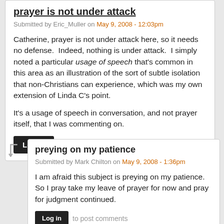prayer is not under attack
Submitted by Eric_Muller on May 9, 2008 - 12:03pm
Catherine, prayer is not under attack here, so it needs no defense.  Indeed, nothing is under attack.  I simply noted a particular usage of speech that's common in this area as an illustration of the sort of subtle isolation that non-Christians can experience, which was my own extension of Linda C's point.

It's a usage of speech in conversation, and not prayer itself, that I was commenting on.
Log in to post comments
preying on my patience
Submitted by Mark Chilton on May 9, 2008 - 1:36pm
I am afraid this subject is preying on my patience.  So I pray take my leave of prayer for now and pray for judgment continued.
Log in to post comments